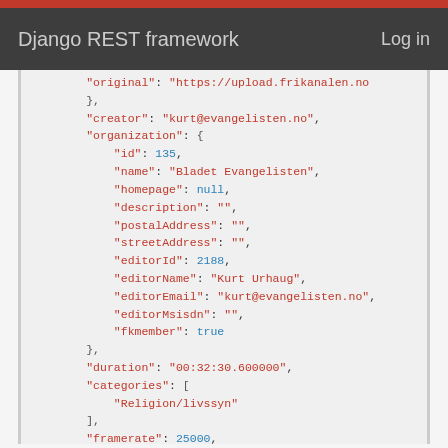Django REST framework  Log in
JSON code block showing API response fields: original URL, creator, organization object with id, name, homepage, description, postalAddress, streetAddress, editorId, editorName, editorEmail, editorMsisdn, fkmember fields, plus duration, categories array with Religion/livssyn, framerate, properImport, hasTonoRecords